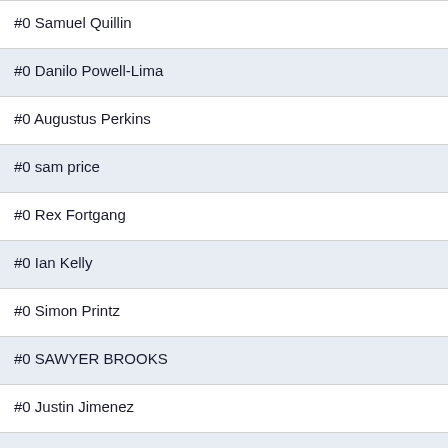| Player |  |  |  |  |
| --- | --- | --- | --- | --- |
| #0 Samuel Quillin | 0 | 0 | 0 | 0 |
| #0 Danilo Powell-Lima | 0 | 0 | 0 | 0 |
| #0 Augustus Perkins | 0 | 0 | 0 | 0 |
| #0 sam price | 0 | 0 | 0 | 0 |
| #0 Rex Fortgang | 0 | 0 | 0 | 0 |
| #0 Ian Kelly | 0 | 0 | 0 | 0 |
| #0 Simon Printz | 0 | 0 | 0 | 0 |
| #0 SAWYER BROOKS | 0 | 0 | 0 | 0 |
| #0 Justin Jimenez | 0 | 0 | 0 | 0 |
| #0 Aaron Henry | 0 | 0 | 0 | 0 |
| #0 Benjamin Levin | 0 | 0 | 0 | 0 |
| #0 Jack Rockwell | 0 | 0 | 0 | 0 |